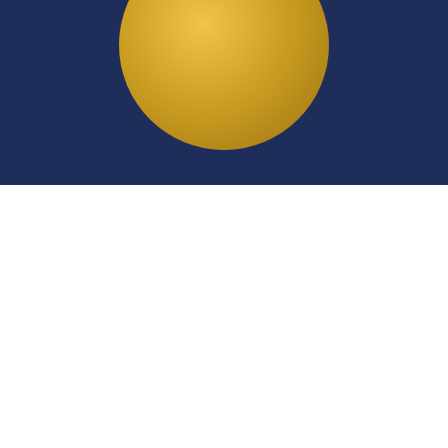[Figure (photo): Dark navy blue background with a large golden/yellow circle (partially visible at top), resembling a moon or sun against the dark background.]
Healing
Personal and professional healing with The Grace Process
The Grace Process is a 7-step spiritual and somatic based practice for becoming your most authentic, heart-centered self,